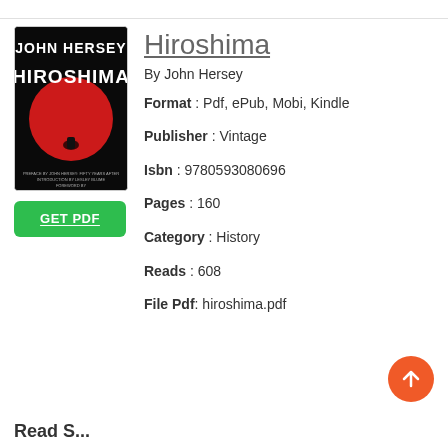[Figure (illustration): Book cover for Hiroshima by John Hersey — black background with large red circle and small figure silhouette, white title text HIROSHIMA]
Hiroshima
By John Hersey
Format : Pdf, ePub, Mobi, Kindle
Publisher : Vintage
Isbn : 9780593080696
Pages : 160
Category : History
Reads : 608
File Pdf: hiroshima.pdf